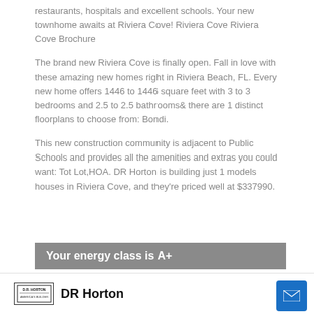restaurants, hospitals and excellent schools. Your new townhome awaits at Riviera Cove! Riviera Cove Riviera Cove Brochure
The brand new Riviera Cove is finally open. Fall in love with these amazing new homes right in Riviera Beach, FL. Every new home offers 1446 to 1446 square feet with 3 to 3 bedrooms and 2.5 to 2.5 bathrooms& there are 1 distinct floorplans to choose from: Bondi.
This new construction community is adjacent to Public Schools and provides all the amenities and extras you could want: Tot Lot,HOA. DR Horton is building just 1 models houses in Riviera Cove, and they're priced well at $337990.
Your energy class is A+
DR Horton